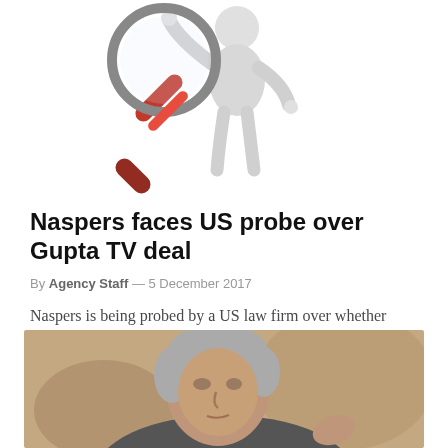[Figure (illustration): 3D white figure character holding a large magnifying glass with red handle]
Naspers faces US probe over Gupta TV deal
By Agency Staff — 5 December 2017
Naspers is being probed by a US law firm over whether Africa's biggest company by market value was involved in...
[Figure (photo): Photo of an older grey-haired man gesturing, photographed against a blurred background]